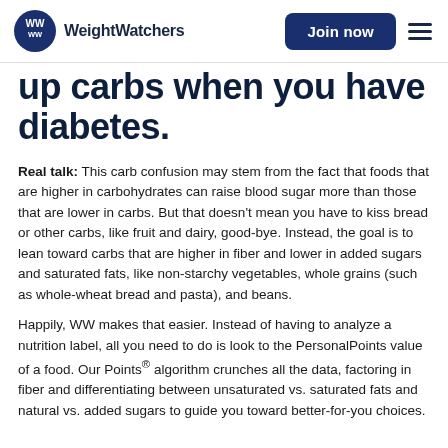WeightWatchers | Join now
up carbs when you have diabetes.
Real talk: This carb confusion may stem from the fact that foods that are higher in carbohydrates can raise blood sugar more than those that are lower in carbs. But that doesn’t mean you have to kiss bread or other carbs, like fruit and dairy, good-bye. Instead, the goal is to lean toward carbs that are higher in fiber and lower in added sugars and saturated fats, like non-starchy vegetables, whole grains (such as whole-wheat bread and pasta), and beans.
Happily, WW makes that easier. Instead of having to analyze a nutrition label, all you need to do is look to the PersonalPoints value of a food. Our Points® algorithm crunches all the data, factoring in fiber and differentiating between unsaturated vs. saturated fats and natural vs. added sugars to guide you toward better-for-you choices.